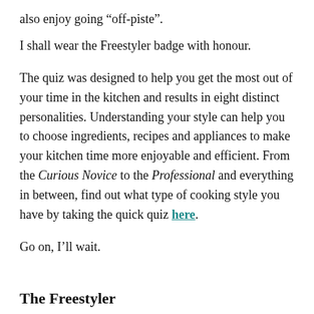also enjoy going “off-piste”.
I shall wear the Freestyler badge with honour.
The quiz was designed to help you get the most out of your time in the kitchen and results in eight distinct personalities. Understanding your style can help you to choose ingredients, recipes and appliances to make your kitchen time more enjoyable and efficient. From the Curious Novice to the Professional and everything in between, find out what type of cooking style you have by taking the quick quiz here.
Go on, I’ll wait.
The Freestyler
In my kitchen, I love to push my growing edge,